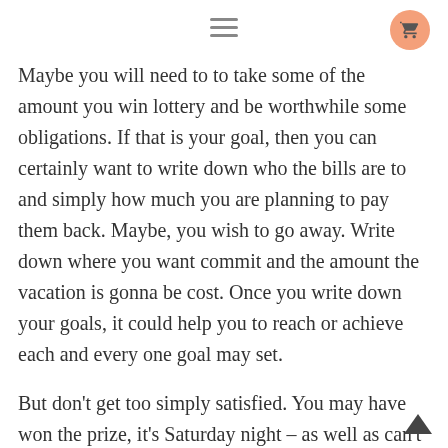[hamburger menu icon] [cart icon]
Maybe you will need to to take some of the amount you win lottery and be worthwhile some obligations. If that is your goal, then you can certainly want to write down who the bills are to and simply how much you are planning to pay them back. Maybe, you wish to go away. Write down where you want commit and the amount the vacation is gonna be cost. Once you write down your goals, it could help you to reach or achieve each and every one goal may set.
But don't get too simply satisfied. You may have won the prize, it's Saturday night – as well as can't key in the lottery headquarters to provide your ticket until Wednesday. You have a major issue. The security of your ticket will be the first